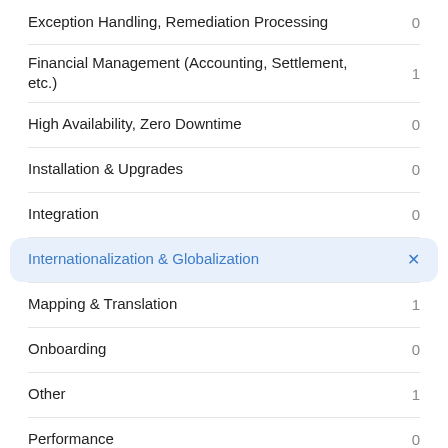Exception Handling, Remediation Processing	0
Financial Management (Accounting, Settlement, etc.)	1
High Availability, Zero Downtime	0
Installation & Upgrades	0
Integration	0
Internationalization & Globalization	X
Mapping & Translation	1
Onboarding	0
Other	1
Performance	0
Security	0
Standards (Protocols, Rule Books, Specifications, etc.)	0